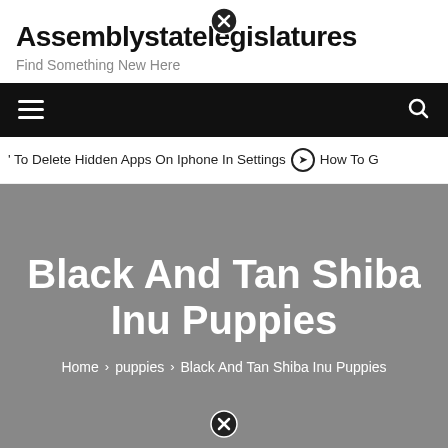Assemblystatelegislatures
Find Something New Here
Navigation bar with hamburger menu and search icon
' To Delete Hidden Apps On Iphone In Settings   ❯ How To G
Black And Tan Shiba Inu Puppies
Home > puppies > Black And Tan Shiba Inu Puppies